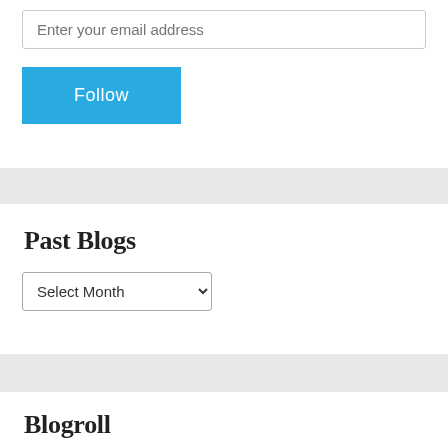[Figure (screenshot): Email input field with placeholder text 'Enter your email address']
[Figure (screenshot): Blue 'Follow' button]
Past Blogs
[Figure (screenshot): Dropdown select element with 'Select Month' placeholder]
Blogroll